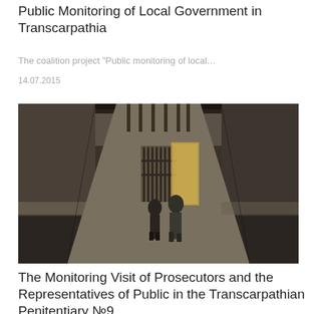Public Monitoring of Local Government in Transcarpathia
The coalition project "Public monitoring of local…
14.07.2015
[Figure (photo): Dark prison corridor with two figures walking toward a barred gate, with natural light coming through a skylight above.]
The Monitoring Visit of Prosecutors and the Representatives of Public in the Transcarpathian Penitentiary №9